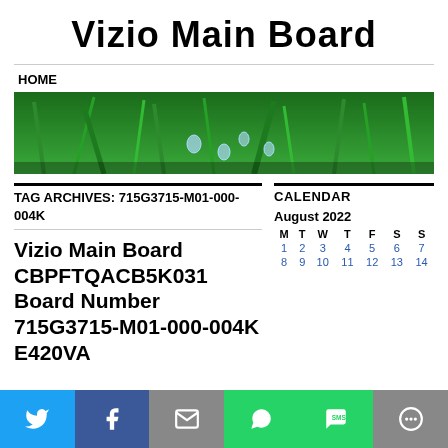Vizio Main Board
HOME
[Figure (photo): Banner photo of green grass with water droplets]
TAG ARCHIVES: 715G3715-M01-000-004K
Vizio Main Board CBPFTQACB5K031 Board Number 715G3715-M01-000-004K E420VA
CALENDAR
August 2022
| M | T | W | T | F | S | S |
| --- | --- | --- | --- | --- | --- | --- |
| 1 | 2 | 3 | 4 | 5 | 6 | 7 |
| 8 | 9 | 10 | 11 | 12 | 13 | 14 |
[Figure (infographic): Social sharing bar with Twitter, Facebook, Email, WhatsApp, SMS, and More buttons]